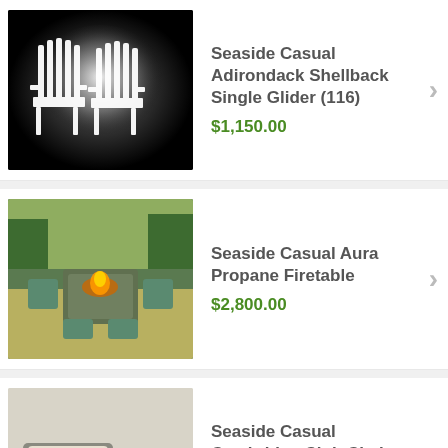[Figure (photo): White wooden Adirondack glider chairs shown against black circular background]
Seaside Casual Adirondack Shellback Single Glider (116)
$1,150.00
[Figure (photo): Outdoor dining set with propane fire table, teal/blue furniture on patio]
Seaside Casual Aura Propane Firetable
$2,800.00
[Figure (photo): Casual outdoor club chair with cream cushions and weathered gray frame]
Seaside Casual Cambridge Club Chair (004)
$954.00
[Figure (photo): Outdoor sectional armless piece with gray cushions near pool area]
Seaside Casual Cambridge Sectional Armless (002)
$799.00